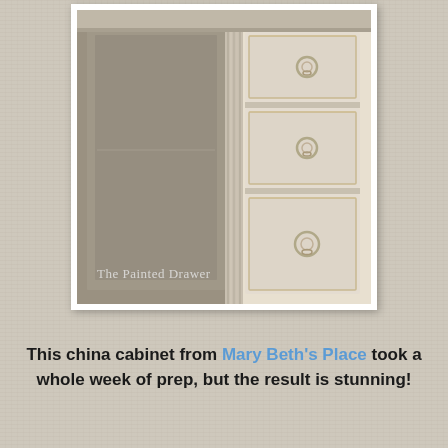[Figure (photo): Close-up photo of a painted china cabinet with grey-taupe left side panel, fluted column detail, and three cream/white drawers with antique ring pulls, distressed finish with gold highlights. Watermark text 'The Painted Drawer' in lower left.]
This china cabinet from Mary Beth's Place took a whole week of prep, but the result is stunning!